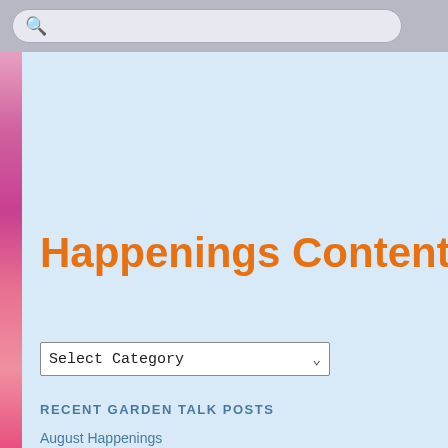[Figure (screenshot): Search bar UI element at top of page with magnifying glass icon and rounded input field]
[Figure (photo): Strip of pink and magenta flowers visible on left side of page]
Happenings Contents:
Select Category (dropdown)
RECENT GARDEN TALK POSTS
August Happenings